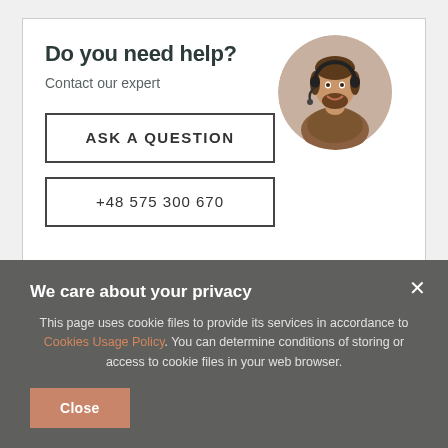Do you need help?
Contact our expert
[Figure (photo): Circular photo of a man with beard wearing a headset and plaid shirt, smiling, against a light background]
ASK A QUESTION
+48 575 300 670
We care about your privacy
This page uses cookie files to provide its services in accordance to Cookies Usage Policy. You can determine conditions of storing or access to cookie files in your web browser.
Close